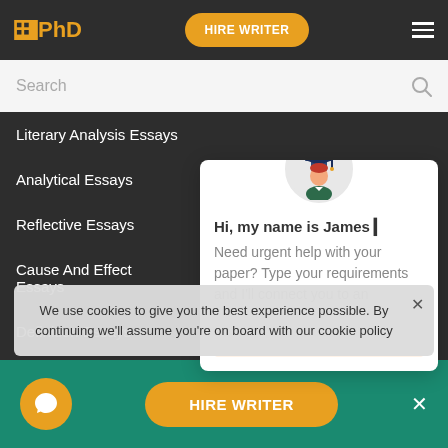PhD | HIRE WRITER
Literary Analysis Essays
Analytical Essays
Reflective Essays
Cause And Effect Essays
Definition Essays
Rhetorical Essays
Common App Essays
Evaluation Essays
[Figure (illustration): Chat assistant popup with avatar of a student in graduation cap and gown. Text reads: Hi, my name is James. Need urgent help with your paper? Type your requirements and I'll connect you to an [expert]]
We use cookies to give you the best experience possible. By continuing we'll assume you're on board with our cookie policy
HIRE WRITER